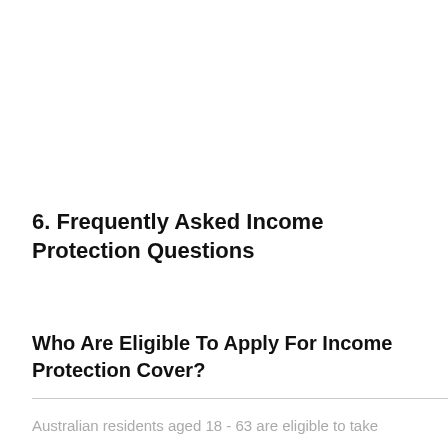6. Frequently Asked Income Protection Questions
Who Are Eligible To Apply For Income Protection Cover?
Australian residents aged 18 - 63 are eligible to take